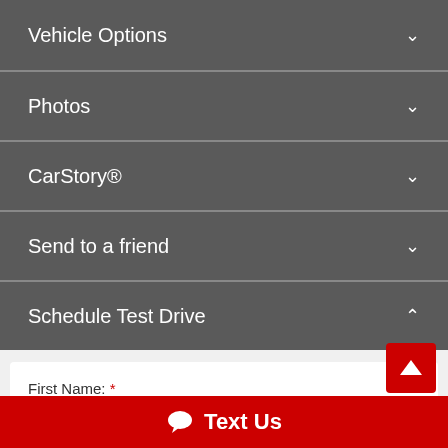Vehicle Options
Photos
CarStory®
Send to a friend
Schedule Test Drive
First Name: *
Last Name: *
Text Us